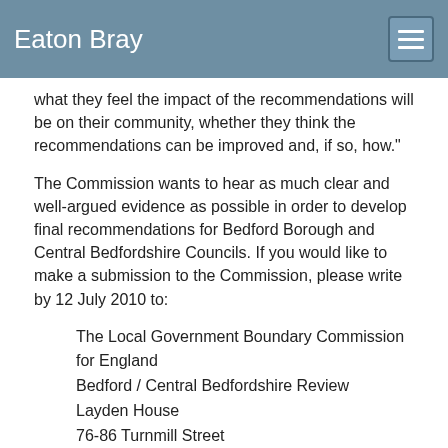Eaton Bray
what they feel the impact of the recommendations will be on their community, whether they think the recommendations can be improved and, if so, how."
The Commission wants to hear as much clear and well-argued evidence as possible in order to develop final recommendations for Bedford Borough and Central Bedfordshire Councils. If you would like to make a submission to the Commission, please write by 12 July 2010 to:
The Local Government Boundary Commission for England
Bedford / Central Bedfordshire Review
Layden House
76-86 Turnmill Street
London
EC1M 5LG
Or email:reviews@lgbce.org.uk
Further information on electoral reviews and guidance on what sort of information the Commission is looking for should be available at council offices, in local libraries, or on our website at